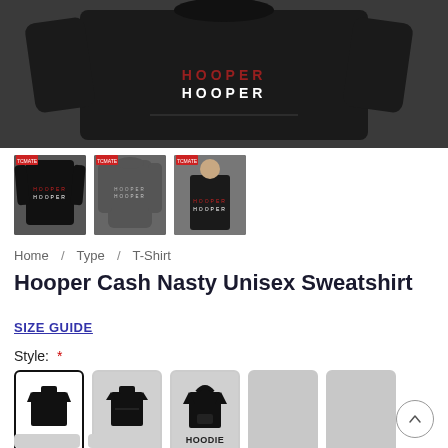[Figure (photo): Main product photo: black sweatshirt laid flat on gray background showing HOOPER text on front]
[Figure (photo): Thumbnail 1: Black sweatshirt with HOOPER text]
[Figure (photo): Thumbnail 2: Gray hoodie with HOOPER text]
[Figure (photo): Thumbnail 3: Person wearing black t-shirt with HOOPER text]
Home / Type / T-Shirt
Hooper Cash Nasty Unisex Sweatshirt
SIZE GUIDE
Style: *
[Figure (infographic): Style selector showing UNISEX (selected, black border), WOMAN, and HOODIE options with icons, plus 5 empty gray placeholder options]